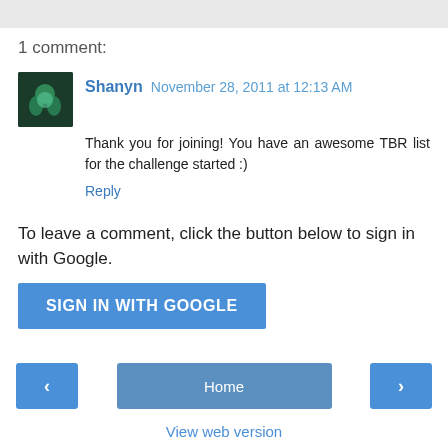1 comment:
Shanyn November 28, 2011 at 12:13 AM
Thank you for joining! You have an awesome TBR list for the challenge started :)
Reply
To leave a comment, click the button below to sign in with Google.
[Figure (other): SIGN IN WITH GOOGLE button]
[Figure (other): Navigation bar with left arrow, Home button, and right arrow]
View web version
Powered by Blogger.